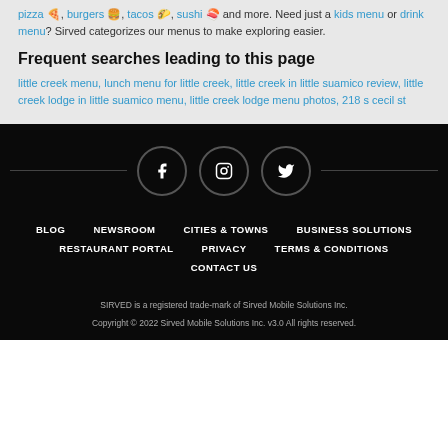pizza 🍕, burgers 🍔, tacos 🌮, sushi 🍣 and more. Need just a kids menu or drink menu? Sirved categorizes our menus to make exploring easier.
Frequent searches leading to this page
little creek menu, lunch menu for little creek, little creek in little suamico review, little creek lodge in little suamico menu, little creek lodge menu photos, 218 s cecil st
[Figure (infographic): Footer with social media icons (Facebook, Instagram, Twitter) displayed as white icons in dark circles, with horizontal lines on either side]
BLOG  NEWSROOM  CITIES & TOWNS  BUSINESS SOLUTIONS  RESTAURANT PORTAL  PRIVACY  TERMS & CONDITIONS  CONTACT US
SIRVED is a registered trade-mark of Sirved Mobile Solutions Inc.
Copyright © 2022 Sirved Mobile Solutions Inc. v3.0 All rights reserved.